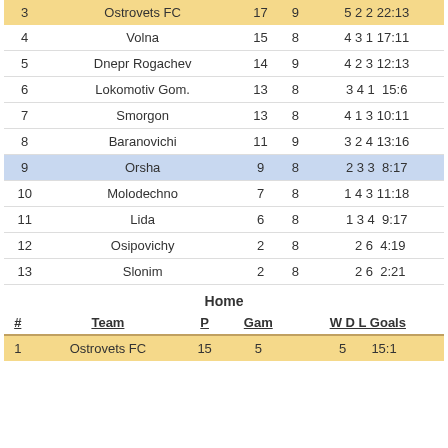| # | Team | P | Gam | W | D | L | Goals |
| --- | --- | --- | --- | --- | --- | --- | --- |
| 3 | Ostrovets FC | 17 | 9 | 5 | 2 | 2 | 22:13 |
| 4 | Volna | 15 | 8 | 4 | 3 | 1 | 17:11 |
| 5 | Dnepr Rogachev | 14 | 9 | 4 | 2 | 3 | 12:13 |
| 6 | Lokomotiv Gom. | 13 | 8 | 3 | 4 | 1 | 15:6 |
| 7 | Smorgon | 13 | 8 | 4 | 1 | 3 | 10:11 |
| 8 | Baranovichi | 11 | 9 | 3 | 2 | 4 | 13:16 |
| 9 | Orsha | 9 | 8 | 2 | 3 | 3 | 8:17 |
| 10 | Molodechno | 7 | 8 | 1 | 4 | 3 | 11:18 |
| 11 | Lida | 6 | 8 | 1 | 3 | 4 | 9:17 |
| 12 | Osipovichy | 2 | 8 |  | 2 | 6 | 4:19 |
| 13 | Slonim | 2 | 8 |  | 2 | 6 | 2:21 |
Home
| # | Team | P | Gam | W D L Goals |
| --- | --- | --- | --- | --- |
| 1 | Ostrovets FC | 15 | 5 | 5 |  |  | 15:1 |